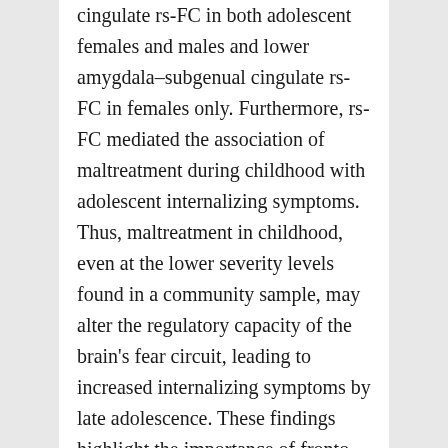cingulate rs-FC in both adolescent females and males and lower amygdala–subgenual cingulate rs-FC in females only. Furthermore, rs-FC mediated the association of maltreatment during childhood with adolescent internalizing symptoms. Thus, maltreatment in childhood, even at the lower severity levels found in a community sample, may alter the regulatory capacity of the brain's fear circuit, leading to increased internalizing symptoms by late adolescence. These findings highlight the importance of fronto–hippocampal connectivity for both sexes in internalizing symptoms following maltreatment in